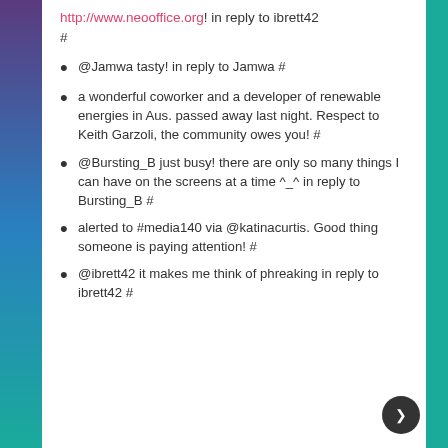http://www.neooffice.org! in reply to ibrett42 #
@Jamwa tasty! in reply to Jamwa #
a wonderful coworker and a developer of renewable energies in Aus. passed away last night. Respect to Keith Garzoli, the community owes you! #
@Bursting_B just busy! there are only so many things I can have on the screens at a time ^_^ in reply to Bursting_B #
alerted to #media140 via @katinacurtis. Good thing someone is paying attention! #
@ibrett42 it makes me think of phreaking in reply to ibrett42 #